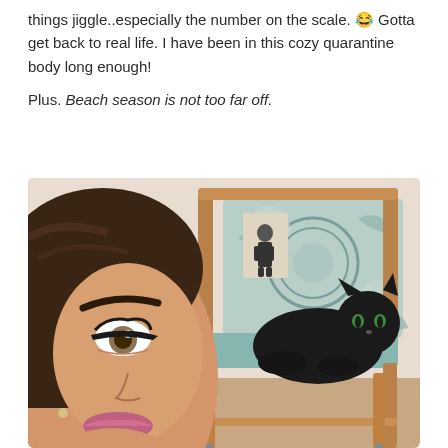things jiggle..especially the number on the scale. 😂 Gotta get back to real life. I have been in this cozy quarantine body long enough!

Plus. Beach season is not too far off.
[Figure (photo): A selfie of a woman with dark hair pulled back, wearing makeup and a dark top, smiling. In the background is a wooden chair with a teal/blue cushion on which a black cat is sitting, and a decorative pillow with a floral pattern.]